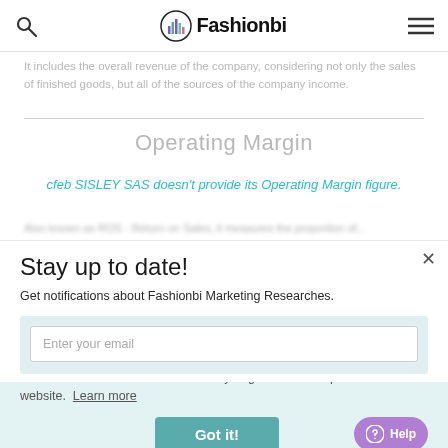FashionBI
It includes the overall revenue of the company, considering not only the sales of finished goods, but all of the sources of the company income.
Operating Margin
cfeb SISLEY SAS doesn't provide its Operating Margin figure.
Stay up to date!
Get notifications about Fashionbi Marketing Researches.
This website uses cookies to ensure you get the best experience on our website. Learn more
Got it!